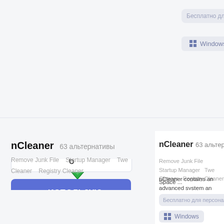Бесплатно для персонального использования
Windows
nCleaner  63 альтернативы
Remove Junk File   Startup Manager   Twe... Cleaner   Registry Cleaner
nCleaner contains an advanced system and application cleaner with over 90 cleaning available, a Registry Cleaner, a Tweak Manager, advanced Startup Manager, a Junk Finder, Space ...
6
использую
Бесплатно для персонального использования
Windows